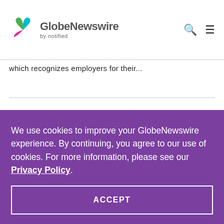GlobeNewswire by notified
which recognizes employers for their...
We use cookies to improve your GlobeNewswire experience. By continuing, you agree to our use of cookies. For more information, please see our Privacy Policy.
ACCEPT